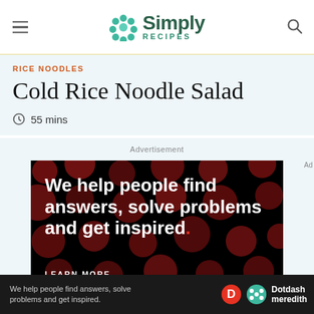Simply Recipes
RICE NOODLES
Cold Rice Noodle Salad
55 mins
Advertisement
[Figure (illustration): Advertisement with black background and dark red dots pattern. Text reads: We help people find answers, solve problems and get inspired. LEARN MORE]
[Figure (illustration): Bottom banner ad: We help people find answers, solve problems and get inspired. Dotdash Meredith logo.]